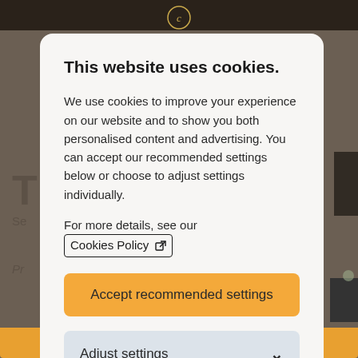This website uses cookies.
We use cookies to improve your experience on our website and to show you both personalised content and advertising. You can accept our recommended settings below or choose to adjust settings individually.
For more details, see our Cookies Policy
Accept recommended settings
Adjust settings